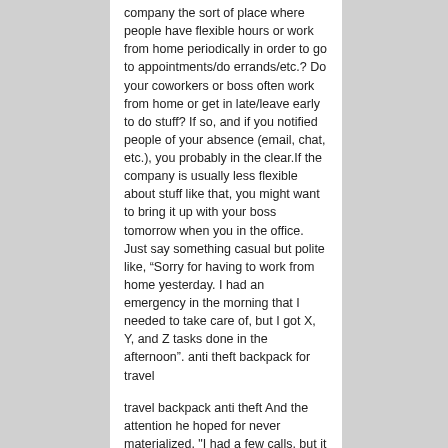company the sort of place where people have flexible hours or work from home periodically in order to go to appointments/do errands/etc.? Do your coworkers or boss often work from home or get in late/leave early to do stuff? If so, and if you notified people of your absence (email, chat, etc.), you probably in the clear.If the company is usually less flexible about stuff like that, you might want to bring it up with your boss tomorrow when you in the office. Just say something casual but polite like, “Sorry for having to work from home yesterday. I had an emergency in the morning that I needed to take care of, but I got X, Y, and Z tasks done in the afternoon”. anti theft backpack for travel
travel backpack anti theft And the attention he hoped for never materialized. "I had a few calls, but it was just a bunch of kids," he said. “They asked what kinds of pedals I use and stuff. The jeans allow the wearer to create a vCard with a QR code. Once scanned with a smartphone, the jeans can share all the wearer pertinent personal or professional information. New items of